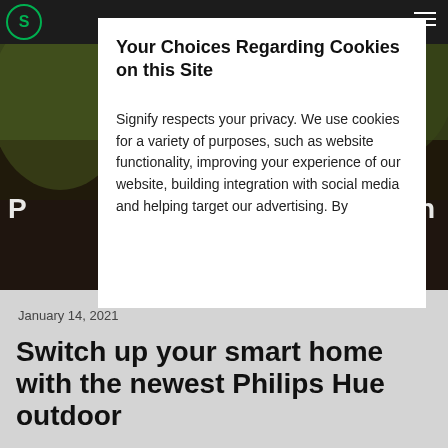Signify navigation bar with logo and hamburger menu
[Figure (photo): Dark outdoor hero image showing foliage and landscape, partially obscured by cookie consent modal. Partial letters 'P' and 'n' visible from headline text behind modal.]
Your Choices Regarding Cookies on this Site
Signify respects your privacy. We use cookies for a variety of purposes, such as website functionality, improving your experience of our website, building integration with social media and helping target our advertising. By
January 14, 2021
Switch up your smart home with the newest Philips Hue outdoor